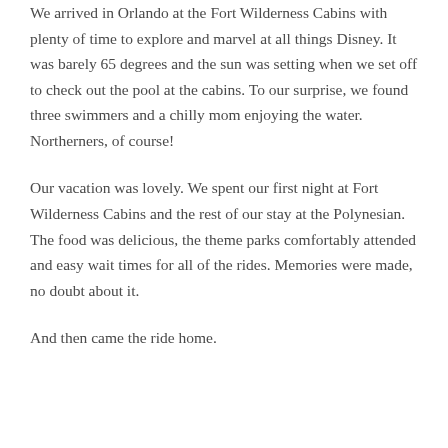We arrived in Orlando at the Fort Wilderness Cabins with plenty of time to explore and marvel at all things Disney. It was barely 65 degrees and the sun was setting when we set off to check out the pool at the cabins. To our surprise, we found three swimmers and a chilly mom enjoying the water. Northerners, of course!
Our vacation was lovely. We spent our first night at Fort Wilderness Cabins and the rest of our stay at the Polynesian. The food was delicious, the theme parks comfortably attended and easy wait times for all of the rides. Memories were made, no doubt about it.
And then came the ride home.